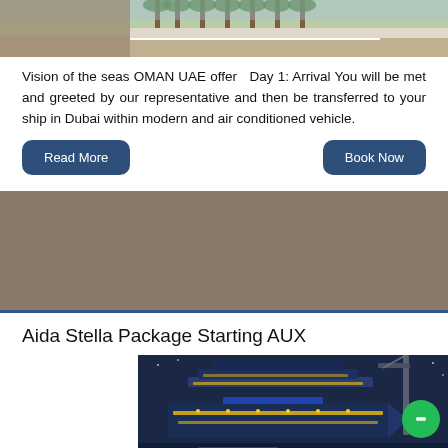[Figure (photo): Top portion of a road/palm tree scene, cropped at top of card]
Vision of the seas OMAN UAE offer   Day 1: Arrival You will be met and greeted by our representative and then be transferred to your ship in Dubai within modern and air conditioned vehicle.
Read More
Book Now
Aida Stella Package Starting AUX
[Figure (photo): Cruise ship (Aida Stella) illuminated at dusk/night, docked at port with a crane visible on the right]